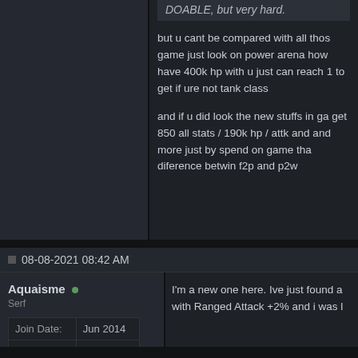DOABLE, but very hard.
but u cant be compared with all those game just look on power arena how have 400k hp with u just can reach 1 to get if ure not tank class
and if u did look the new stuffs in game get 850 all stats / 190k hp / attk and and more just by spend on game that diference betwin f2p and p2w
08-08-2021 08:42 AM
Aquaisme
Serf
| Join Date: | Jun 2014 |
| --- | --- |
| Posts: | 22 |
I'm a new one here. Ive just found a with Ranged Attack +2% and i was l